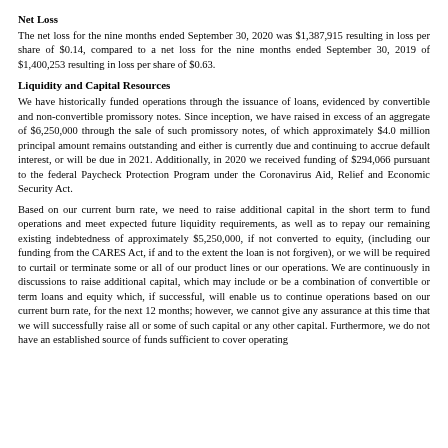Net Loss
The net loss for the nine months ended September 30, 2020 was $1,387,915 resulting in loss per share of $0.14, compared to a net loss for the nine months ended September 30, 2019 of $1,400,253 resulting in loss per share of $0.63.
Liquidity and Capital Resources
We have historically funded operations through the issuance of loans, evidenced by convertible and non-convertible promissory notes. Since inception, we have raised in excess of an aggregate of $6,250,000 through the sale of such promissory notes, of which approximately $4.0 million principal amount remains outstanding and either is currently due and continuing to accrue default interest, or will be due in 2021. Additionally, in 2020 we received funding of $294,066 pursuant to the federal Paycheck Protection Program under the Coronavirus Aid, Relief and Economic Security Act.
Based on our current burn rate, we need to raise additional capital in the short term to fund operations and meet expected future liquidity requirements, as well as to repay our remaining existing indebtedness of approximately $5,250,000, if not converted to equity, (including our funding from the CARES Act, if and to the extent the loan is not forgiven), or we will be required to curtail or terminate some or all of our product lines or our operations. We are continuously in discussions to raise additional capital, which may include or be a combination of convertible or term loans and equity which, if successful, will enable us to continue operations based on our current burn rate, for the next 12 months; however, we cannot give any assurance at this time that we will successfully raise all or some of such capital or any other capital. Furthermore, we do not have an established source of funds sufficient to cover operating